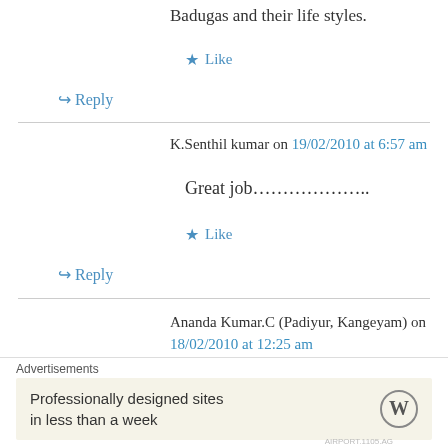Badugas and their life styles.
★ Like
↳ Reply
K.Senthil kumar on 19/02/2010 at 6:57 am
Great job………………..
★ Like
↳ Reply
Ananda Kumar.C (Padiyur, Kangeyam) on 18/02/2010 at 12:25 am
Advertisements
Professionally designed sites in less than a week